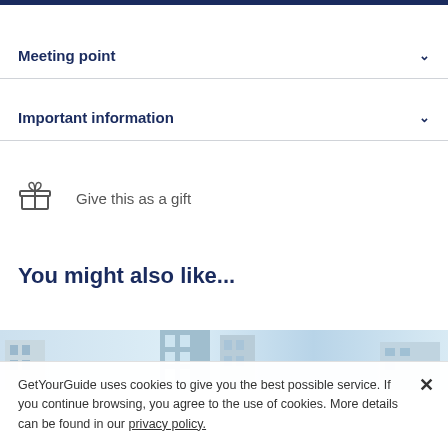Meeting point
Important information
Give this as a gift
You might also like...
[Figure (photo): Partial view of city buildings/street scene photo strip]
GetYourGuide uses cookies to give you the best possible service. If you continue browsing, you agree to the use of cookies. More details can be found in our privacy policy.